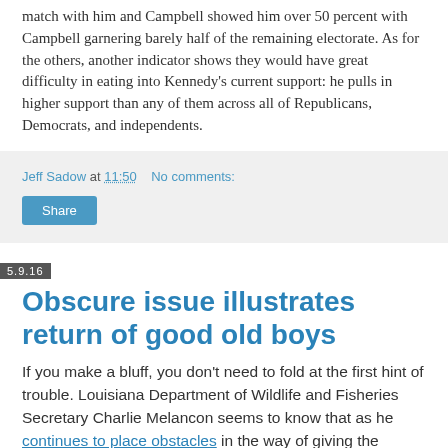match with him and Campbell showed him over 50 percent with Campbell garnering barely half of the remaining electorate. As for the others, another indicator shows they would have great difficulty in eating into Kennedy's current support: he pulls in higher support than any of them across all of Republicans, Democrats, and independents.
Jeff Sadow at 11:50    No comments:
Share
5.9.16
Obscure issue illustrates return of good old boys
If you make a bluff, you don't need to fold at the first hint of trouble. Louisiana Department of Wildlife and Fisheries Secretary Charlie Melancon seems to know that as he continues to place obstacles in the way of giving the state's citizens more control over one of its natural resources in the hopes of winning the hand.